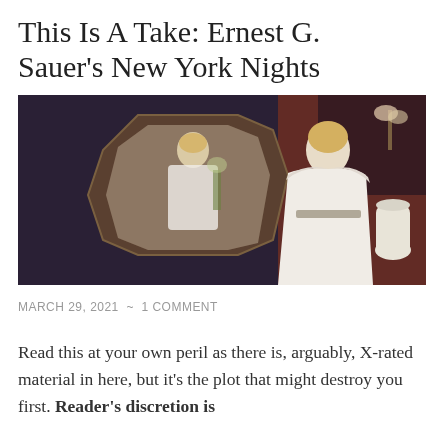This Is A Take: Ernest G. Sauer's New York Nights
[Figure (photo): A scene showing a person in a white robe/garment standing and looking at their reflection in an ornate mirror. The person appears blonde. The scene has a theatrical, cinematic quality with warm and dark tones.]
MARCH 29, 2021  ~  1 COMMENT
Read this at your own peril as there is, arguably, X-rated material in here, but it's the plot that might destroy you first. Reader's discretion is